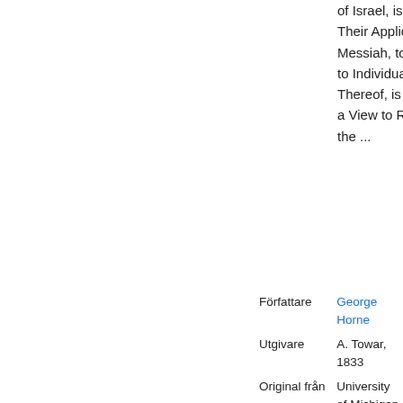of Israel, is Illustrated and Their Application to Messiah, to the Church, and to Individuals, as Members Thereof, is Pointed Out: with a View to Render the Use of the ...
| Författare | George Horne |
| Utgivare | A. Towar, 1833 |
| Original från | University of Michigan |
| Digitaliserad | 12 jun 2007 |